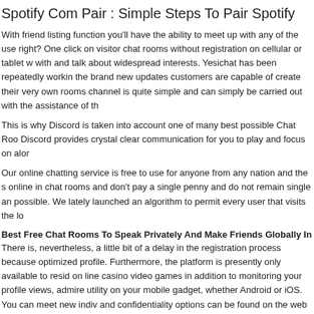Spotify Com Pair : Simple Steps To Pair Spotify
With friend listing function you'll have the ability to meet up with any of the use right? One click on visitor chat rooms without registration on cellular or tablet w with and talk about widespread interests. Yesichat has been repeatedly workin the brand new updates customers are capable of create their very own rooms channel is quite simple and can simply be carried out with the assistance of th
This is why Discord is taken into account one of many best possible Chat Roo Discord provides crystal clear communication for you to play and focus on alor
Our online chatting service is free to use for anyone from any nation and the s online in chat rooms and don't pay a single penny and do not remain single an possible. We lately launched an algorithm to permit every user that visits the lo
Best Free Chat Rooms To Speak Privately And Make Friends Globally In 2
There is, nevertheless, a little bit of a delay in the registration process because optimized profile. Furthermore, the platform is presently only available to resid on line casino video games in addition to monitoring your profile views, admire utility on your mobile gadget, whether Android or iOS. You can meet new indiv and confidentiality options can be found on the web site along with elementary individuals from around the world in addition to from your native area.
PalTalk is among the greatest places for group chats should you like communa text, voice chat, stickers, and a few virtual games. Easy-to-use platform with a
Uk Chat